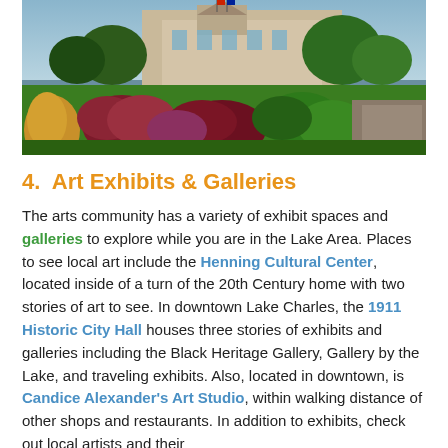[Figure (photo): Outdoor photograph of a historic building with colorful ornamental grasses and flowering plants in the foreground, trees and a blue sky in the background.]
4.  Art Exhibits & Galleries
The arts community has a variety of exhibit spaces and galleries to explore while you are in the Lake Area. Places to see local art include the Henning Cultural Center, located inside of a turn of the 20th Century home with two stories of art to see. In downtown Lake Charles, the 1911 Historic City Hall houses three stories of exhibits and galleries including the Black Heritage Gallery, Gallery by the Lake, and traveling exhibits. Also, located in downtown, is Candice Alexander's Art Studio, within walking distance of other shops and restaurants. In addition to exhibits, check out local artists and their